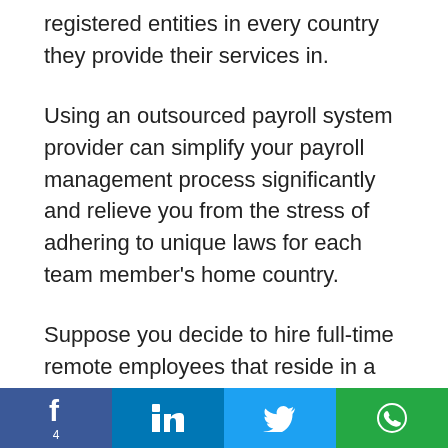registered entities in every country they provide their services in.
Using an outsourced payroll system provider can simplify your payroll management process significantly and relieve you from the stress of adhering to unique laws for each team member's home country.
Suppose you decide to hire full-time remote employees that reside in a country outside of where your company is registered. Here are three
Facebook 4 | LinkedIn | Twitter | WhatsApp